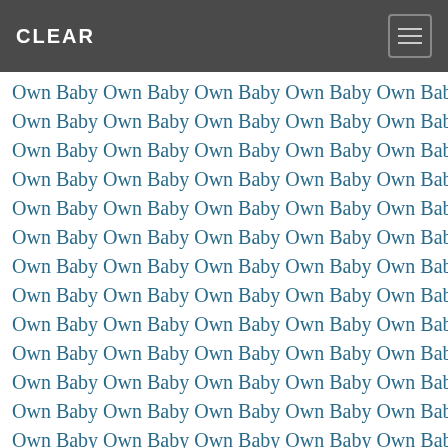CLEAR
Own Baby Own Baby Own Baby Own Baby Own Baby (repeated pattern filling the page)